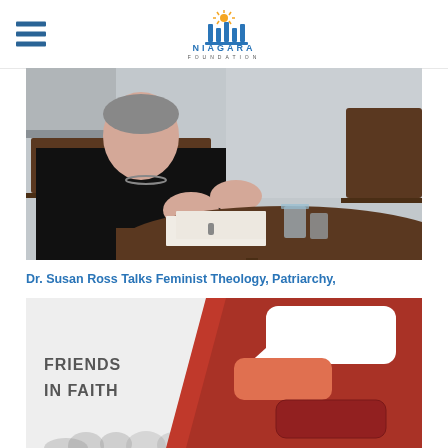Niagara Foundation
[Figure (photo): A person dressed in black sitting at a dark wooden conference table, gesturing with their hands while speaking. A glass of water is visible on the table. The background shows a neutral-colored wall.]
Dr. Susan Ross Talks Feminist Theology, Patriarchy,
[Figure (photo): Friends in Faith program promotional image showing the text 'FRIENDS IN FAITH' on the left side with a crowd silhouette, and colorful speech bubble graphics on the right side with red, orange, and white overlapping chat bubbles.]